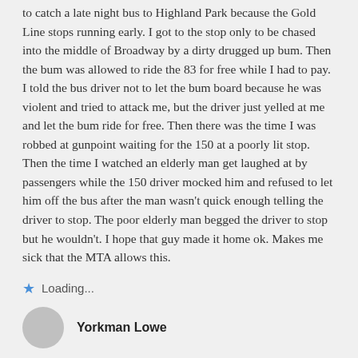to catch a late night bus to Highland Park because the Gold Line stops running early. I got to the stop only to be chased into the middle of Broadway by a dirty drugged up bum. Then the bum was allowed to ride the 83 for free while I had to pay. I told the bus driver not to let the bum board because he was violent and tried to attack me, but the driver just yelled at me and let the bum ride for free. Then there was the time I was robbed at gunpoint waiting for the 150 at a poorly lit stop. Then the time I watched an elderly man get laughed at by passengers while the 150 driver mocked him and refused to let him off the bus after the man wasn't quick enough telling the driver to stop. The poor elderly man begged the driver to stop but he wouldn't. I hope that guy made it home ok. Makes me sick that the MTA allows this.
Loading...
Yorkman Lowe